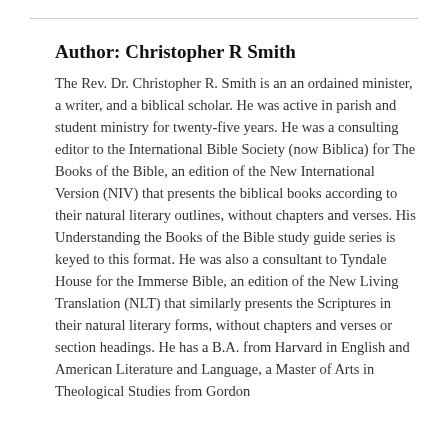Author: Christopher R Smith
The Rev. Dr. Christopher R. Smith is an an ordained minister, a writer, and a biblical scholar. He was active in parish and student ministry for twenty-five years. He was a consulting editor to the International Bible Society (now Biblica) for The Books of the Bible, an edition of the New International Version (NIV) that presents the biblical books according to their natural literary outlines, without chapters and verses. His Understanding the Books of the Bible study guide series is keyed to this format. He was also a consultant to Tyndale House for the Immerse Bible, an edition of the New Living Translation (NLT) that similarly presents the Scriptures in their natural literary forms, without chapters and verses or section headings. He has a B.A. from Harvard in English and American Literature and Language, a Master of Arts in Theological Studies from Gordon